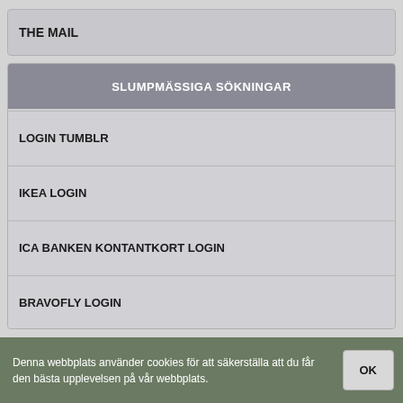THE MAIL
SLUMPMÄSSIGA SÖKNINGAR
LOGIN TUMBLR
IKEA LOGIN
ICA BANKEN KONTANTKORT LOGIN
BRAVOFLY LOGIN
Denna webbplats använder cookies för att säkerställa att du får den bästa upplevelsen på vår webbplats.